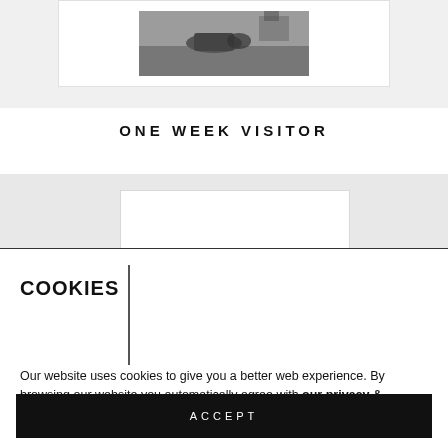[Figure (photo): Black and white photograph of hands on a desk, shown in a framed mount, partially visible at top of page]
ONE WEEK VISITOR
[Figure (photo): Partially visible framed photograph, cropped by cookie consent overlay]
COOKIES
Our website uses cookies to give you a better web experience. By browsing our website you automatically agree with our privacy & security policy.